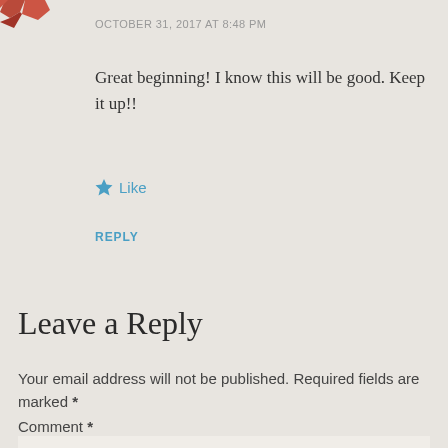[Figure (illustration): Partial avatar icon in top-left corner, reddish-brown color]
OCTOBER 31, 2017 AT 8:48 PM
Great beginning! I know this will be good. Keep it up!!
★ Like
REPLY
Leave a Reply
Your email address will not be published. Required fields are marked *
Comment *